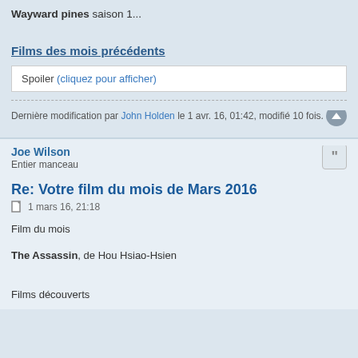Wayward pines saison 1...
Films des mois précédents
Spoiler (cliquez pour afficher)
Dernière modification par John Holden le 1 avr. 16, 01:42, modifié 10 fois.
Joe Wilson
Entier manceau
Re: Votre film du mois de Mars 2016
1 mars 16, 21:18
Film du mois
The Assassin, de Hou Hsiao-Hsien
Films découverts